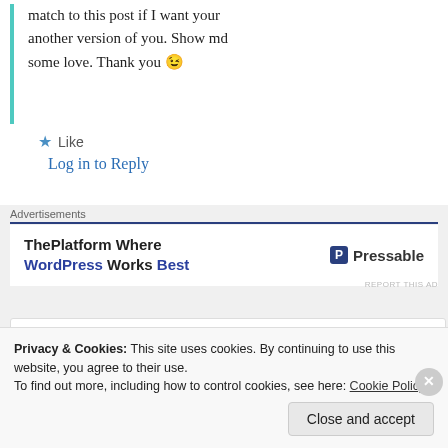match to this post if I want your another version of you. Show md some love. Thank you 😉
★ Like
Log in to Reply
Advertisements
[Figure (screenshot): Advertisement banner: ThePlatform Where WordPress Works Best — Pressable logo]
Privacy & Cookies: This site uses cookies. By continuing to use this website, you agree to their use. To find out more, including how to control cookies, see here: Cookie Policy
Close and accept